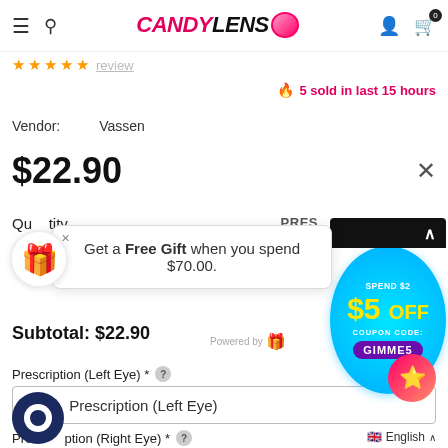CandyLens navigation header with hamburger menu, search, logo, user icon, cart (0)
5 sold in last 15 hours
Vendor: Vassen
$22.90
Quantity  PRES
[Figure (screenshot): Gift popup overlay: gift icon circle, popup box saying 'Get a Free Gift when you spend $70.00.' with close X, and a cyan coupon badge 'SPEND $2 $5 OFF COUPON CODE: GIMME5']
Subtotal: $22.90
Prescription (Left Eye) *
Choose Prescription (Left Eye)
Prescription (Right Eye) *
Choose Prescription (Right Eye)
English